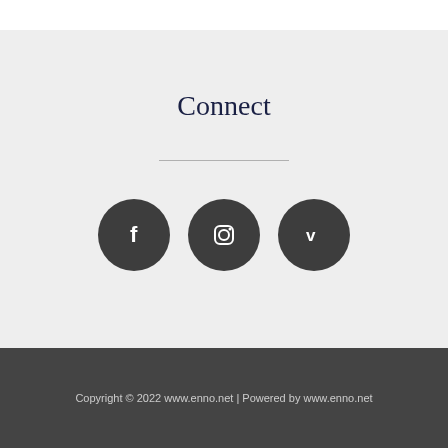Connect
[Figure (illustration): Three circular dark gray social media icon buttons: Facebook (f), Instagram (camera/square icon), and Vimeo (v) arranged horizontally]
Copyright © 2022 www.enno.net | Powered by www.enno.net